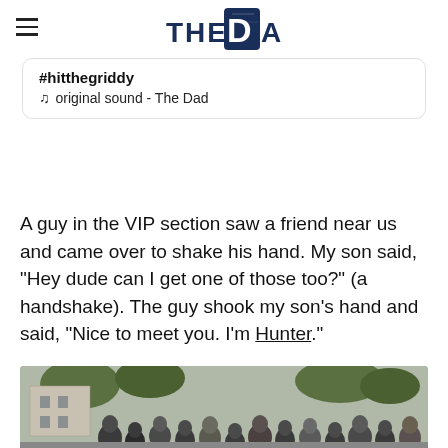THE DAD
#hitthegriddy
♫  original sound - The Dad
A guy in the VIP section saw a friend near us and came over to shake his hand. My son said, “Hey dude can I get one of those too?” (a handshake). The guy shook my son’s hand and said, “Nice to meet you. I’m Hunter.”
[Figure (photo): Outdoor crowd scene with people gathered, trees visible in background, appears to be a public event or rally]